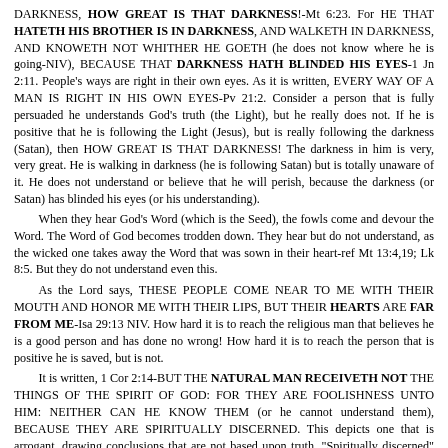DARKNESS, HOW GREAT IS THAT DARKNESS!-Mt 6:23. For HE THAT HATETH HIS BROTHER IS IN DARKNESS, AND WALKETH IN DARKNESS, AND KNOWETH NOT WHITHER HE GOETH (he does not know where he is going-NIV), BECAUSE THAT DARKNESS HATH BLINDED HIS EYES-1 Jn 2:11. People's ways are right in their own eyes. As it is written, EVERY WAY OF A MAN IS RIGHT IN HIS OWN EYES-Pv 21:2. Consider a person that is fully persuaded he understands God's truth (the Light), but he really does not. If he is positive that he is following the Light (Jesus), but is really following the darkness (Satan), then HOW GREAT IS THAT DARKNESS! The darkness in him is very, very great. He is walking in darkness (he is following Satan) but is totally unaware of it. He does not understand or believe that he will perish, because the darkness (or Satan) has blinded his eyes (or his understanding). When they hear God's Word (which is the Seed), the fowls come and devour the Word. The Word of God becomes trodden down. They hear but do not understand, as the wicked one takes away the Word that was sown in their heart-ref Mt 13:4,19; Lk 8:5. But they do not understand even this. As the Lord says, THESE PEOPLE COME NEAR TO ME WITH THEIR MOUTH AND HONOR ME WITH THEIR LIPS, BUT THEIR HEARTS ARE FAR FROM ME-Isa 29:13 NIV. How hard it is to reach the religious man that believes he is a good person and has done no wrong! How hard it is to reach the person that is positive he is saved, but is not. It is written, 1 Cor 2:14-BUT THE NATURAL MAN RECEIVETH NOT THE THINGS OF THE SPIRIT OF GOD: FOR THEY ARE FOOLISHNESS UNTO HIM: NEITHER CAN HE KNOW THEM (or he cannot understand them), BECAUSE THEY ARE SPIRITUALLY DISCERNED. This depicts one that is arrogant, drawing conclusions that are not based upon truth. "Spiritually discerned" conveys that the natural man is incompetent. He is not equipped to operate in the realm of faith, neither does he seem able to truthfully examine the